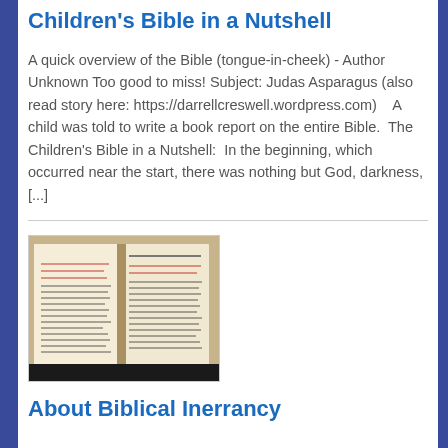Children's Bible in a Nutshell
A quick overview of the Bible (tongue-in-cheek) - Author Unknown Too good to miss! Subject: Judas Asparagus (also read story here: https://darrellcreswell.wordpress.com)   A child was told to write a book report on the entire Bible.  The Children's Bible in a Nutshell:  In the beginning, which occurred near the start, there was nothing but God, darkness, [...]
[Figure (photo): Open Bible with red and black text visible on the pages]
About Biblical Inerrancy